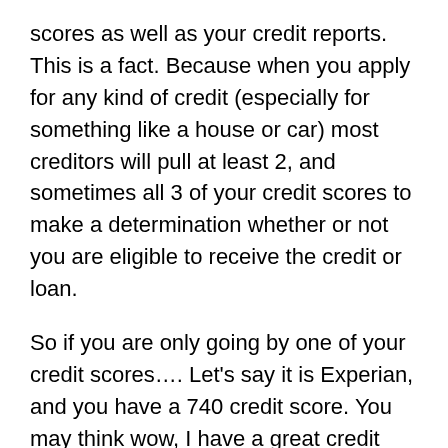scores as well as your credit reports. This is a fact. Because when you apply for any kind of credit (especially for something like a house or car) most creditors will pull at least 2, and sometimes all 3 of your credit scores to make a determination whether or not you are eligible to receive the credit or loan.
So if you are only going by one of your credit scores…. Let's say it is Experian, and you have a 740 credit score. You may think wow, I have a great credit score. But then later find out that your other 2 credit scores (Equifax and TransUnion) are in the low 600s, which overall you actually have a bad credit score. And yes, your 3 credit scores can be very different from each other. The reason is when you apply for credit or for a loan, you don't know